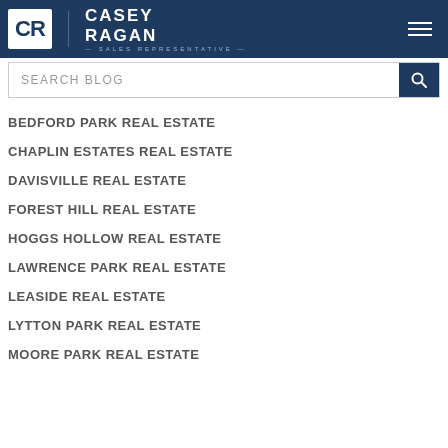[Figure (logo): Casey Ragan Sales Representative logo — white CR monogram in box, white text CASEY RAGAN with SALES REPRESENTATIVE subtitle, on dark navy header]
[Figure (screenshot): Search blog input field with magnifying glass button]
BEDFORD PARK REAL ESTATE
CHAPLIN ESTATES REAL ESTATE
DAVISVILLE REAL ESTATE
FOREST HILL REAL ESTATE
HOGGS HOLLOW REAL ESTATE
LAWRENCE PARK REAL ESTATE
LEASIDE REAL ESTATE
LYTTON PARK REAL ESTATE
MOORE PARK REAL ESTATE